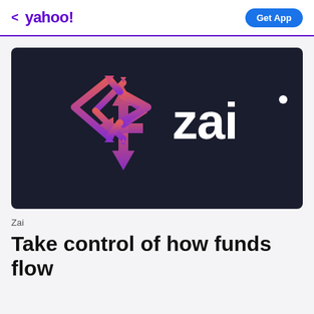< yahoo! | Get App
[Figure (logo): Zai company logo on dark navy background. A diamond/arrow geometric logo mark in pink-to-purple gradient on the left, followed by the word 'zai' in bold white text with a small dot above the 'i'.]
Zai
Take control of how funds flow